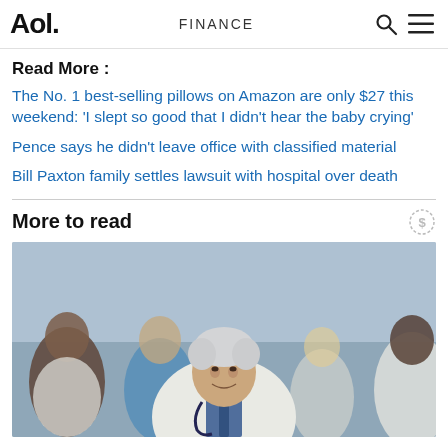Aol. | FINANCE
Read More :
The No. 1 best-selling pillows on Amazon are only $27 this weekend: 'I slept so good that I didn't hear the baby crying'
Pence says he didn't leave office with classified material
Bill Paxton family settles lawsuit with hospital over death
More to read
[Figure (photo): Group of medical professionals in white coats smiling, led by a senior male doctor with white hair in the foreground, with three other doctors/nurses behind him in a hospital setting.]